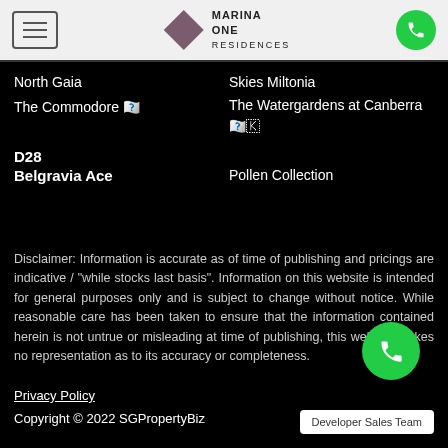Marina One Residences
North Gaia
Skies Miltonia
The Commodore
The Watergardens at Canberra
D28
Belgravia Ace
Pollen Collection
Disclaimer: Information is accurate as of time of publishing and pricings are indicative / "while stocks last basis". Information on this website is intended for general purposes only and is subject to change without notice. While reasonable care has been taken to ensure that the information contained herein is not untrue or misleading at time of publishing, this website makes no representation as to its accuracy or completeness.
Privacy Policy
Copyright © 2022 SGPropertyBiz